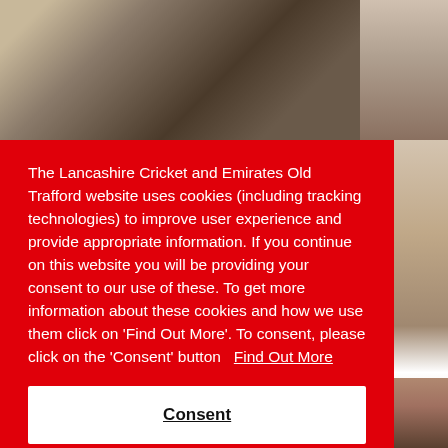[Figure (photo): Background photo showing a crowd at a cricket stadium at top, and a cricket player in white on the right side.]
The Lancashire Cricket and Emirates Old Trafford website uses cookies (including tracking technologies) to improve user experience and provide appropriate information. If you continue on this website you will be providing your consent to our use of these. To get more information about these cookies and how we use them click on 'Find Out More'. To consent, please click on the 'Consent' button  Find Out More
Consent